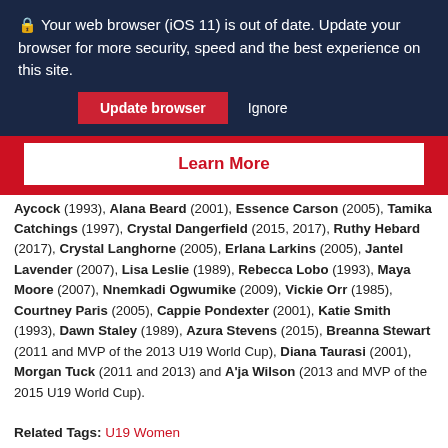🔒 Your web browser (iOS 11) is out of date. Update your browser for more security, speed and the best experience on this site.
Update browser | Ignore
Learn More
Aycock (1993), Alana Beard (2001), Essence Carson (2005), Tamika Catchings (1997), Crystal Dangerfield (2015, 2017), Ruthy Hebard (2017), Crystal Langhorne (2005), Erlana Larkins (2005), Jantel Lavender (2007), Lisa Leslie (1989), Rebecca Lobo (1993), Maya Moore (2007), Nnemkadi Ogwumike (2009), Vickie Orr (1985), Courtney Paris (2005), Cappie Pondexter (2001), Katie Smith (1993), Dawn Staley (1989), Azura Stevens (2015), Breanna Stewart (2011 and MVP of the 2013 U19 World Cup), Diana Taurasi (2001), Morgan Tuck (2011 and 2013) and A'ja Wilson (2013 and MVP of the 2015 U19 World Cup).
Related Tags: U19 Women